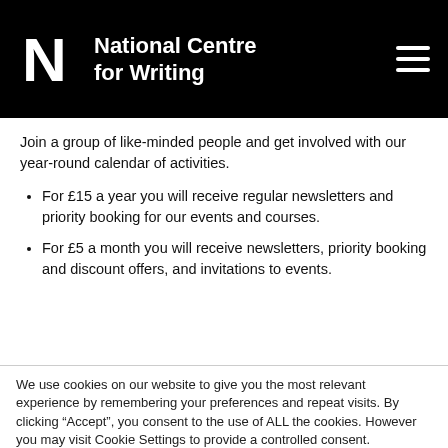National Centre for Writing
Join a group of like-minded people and get involved with our year-round calendar of activities.
For £15 a year you will receive regular newsletters and priority booking for our events and courses.
For £5 a month you will receive newsletters, priority booking and discount offers, and invitations to events.
We use cookies on our website to give you the most relevant experience by remembering your preferences and repeat visits. By clicking “Accept”, you consent to the use of ALL the cookies. However you may visit Cookie Settings to provide a controlled consent.